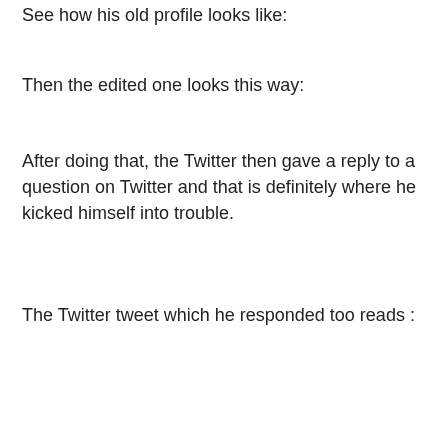See how his old profile looks like:
Then the edited one looks this way:
After doing that, the Twitter then gave a reply to a question on Twitter and that is definitely where he kicked himself into trouble.
The Twitter tweet which he responded too reads :